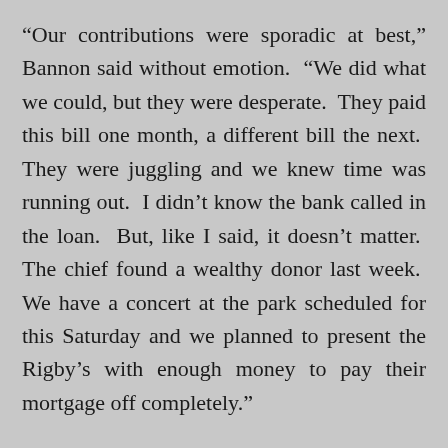“Our contributions were sporadic at best,” Bannon said without emotion.  “We did what we could, but they were desperate.  They paid this bill one month, a different bill the next.  They were juggling and we knew time was running out.  I didn’t know the bank called in the loan.  But, like I said, it doesn’t matter.  The chief found a wealthy donor last week.  We have a concert at the park scheduled for this Saturday and we planned to present the Rigby’s with enough money to pay their mortgage off completely.”
“But they didn’t know that,” Paige wasn’t convinced.
“They didn’t...